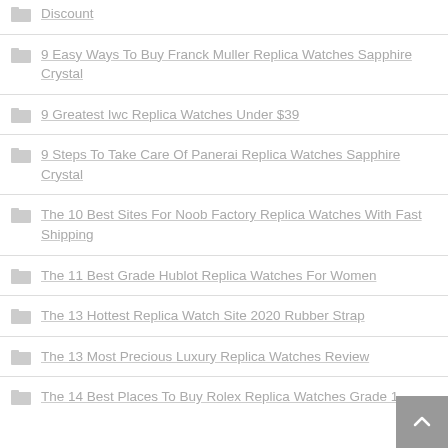Discount
9 Easy Ways To Buy Franck Muller Replica Watches Sapphire Crystal
9 Greatest Iwc Replica Watches Under $39
9 Steps To Take Care Of Panerai Replica Watches Sapphire Crystal
The 10 Best Sites For Noob Factory Replica Watches With Fast Shipping
The 11 Best Grade Hublot Replica Watches For Women
The 13 Hottest Replica Watch Site 2020 Rubber Strap
The 13 Most Precious Luxury Replica Watches Review
The 14 Best Places To Buy Rolex Replica Watches Grade 1